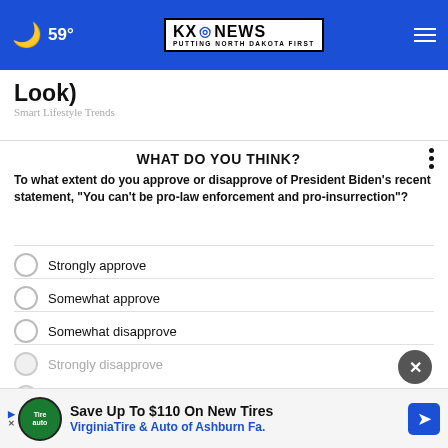KXO NEWS — PUTTING NORTH DAKOTA FIRST | 59°
Look)
Smart Lifestyle Trends
WHAT DO YOU THINK?
To what extent do you approve or disapprove of President Biden's recent statement, "You can't be pro-law enforcement and pro-insurrection"?
Strongly approve
Somewhat approve
Somewhat disapprove
Strongly disapprove
Save Up To $110 On New Tires — VirginiaTire & Auto of Ashburn Fa.